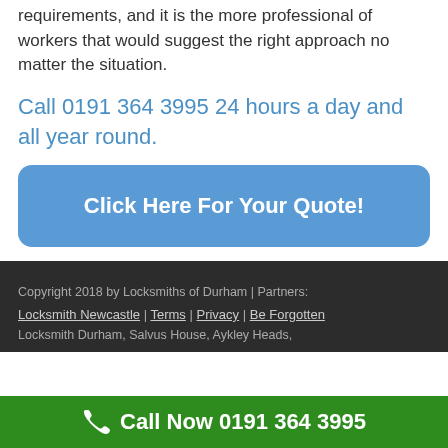requirements, and it is the more professional of workers that would suggest the right approach no matter the situation.
Call 0191 364 3995 24 hours a day and all year round.
[Figure (other): Blue rounded button with white text 'Click Here For Your Quote!']
Copyright 2018 by Locksmiths of Durham | Partners: Locksmith Newcastle | Terms | Privacy | Be Forgotten
Locksmith Durham, Salvus House, Aykley Heads,
Call Now 0191 364 3995